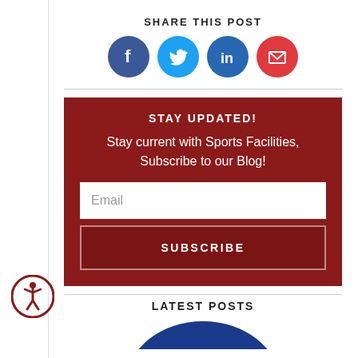SHARE THIS POST
[Figure (infographic): Four social media share buttons as colored circles: Facebook (dark blue), Twitter (light blue), LinkedIn (blue), Email (red)]
[Figure (infographic): Dark red subscription box with title STAY UPDATED!, body text 'Stay current with Sports Facilities, Subscribe to our Blog!', Email input field, and SUBSCRIBE button]
LATEST POSTS
[Figure (other): Blue arc/circle visible at bottom of page below LATEST POSTS heading]
[Figure (other): Accessibility icon — a person in a circle, dark red, in lower left]